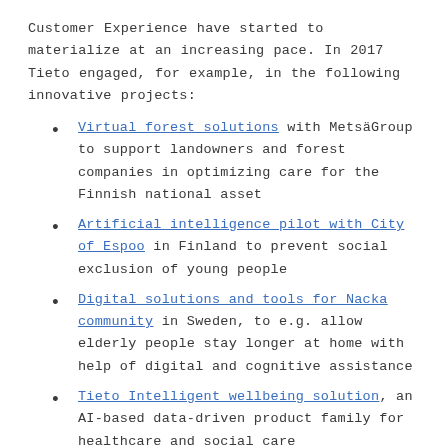Customer Experience have started to materialize at an increasing pace. In 2017 Tieto engaged, for example, in the following innovative projects:
Virtual forest solutions with MetsäGroup to support landowners and forest companies in optimizing care for the Finnish national asset
Artificial intelligence pilot with City of Espoo in Finland to prevent social exclusion of young people
Digital solutions and tools for Nacka community in Sweden, to e.g. allow elderly people stay longer at home with help of digital and cognitive assistance
Tieto Intelligent wellbeing solution, an AI-based data-driven product family for healthcare and social care